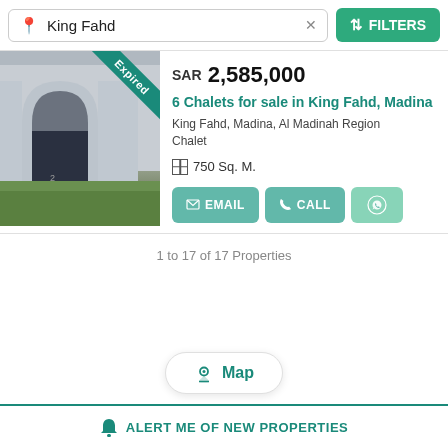King Fahd × FILTERS
[Figure (photo): Property photo showing a building with an arched entrance, interior courtyard with white structures, and green grass in the foreground. An 'Expired' ribbon banner is overlaid in the top-right corner of the image.]
SAR 2,585,000
6 Chalets for sale in King Fahd, Madina
King Fahd, Madina, Al Madinah Region
Chalet
750 Sq. M.
EMAIL   CALL   [WhatsApp icon]
1 to 17 of 17 Properties
Map
ALERT ME OF NEW PROPERTIES